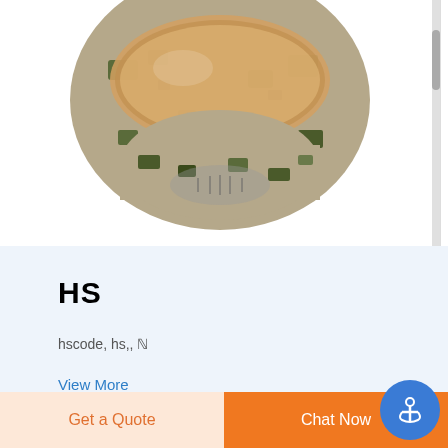[Figure (photo): A tactical/military-style paintball face mask with camouflage pattern and large lens, photographed from the front on a white background.]
HS
hscode, hs,, ℕ
View More
[Figure (logo): Circular camouflage-patterned logo with a red letter D in the center and dashed concentric rings.]
[Figure (photo): Partial view of a grey tactical helmet or product on the right side of the bottom row.]
Get a Quote
Chat Now